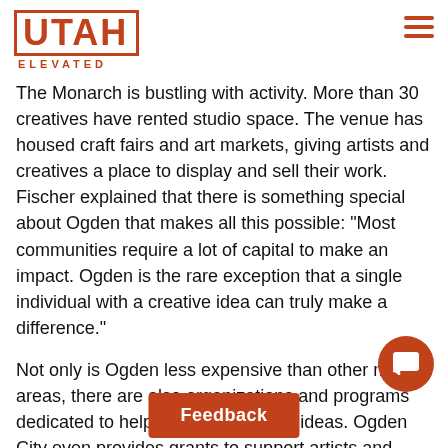UTAH ELEVATED
The Monarch is bustling with activity. More than 30 creatives have rented studio space. The venue has housed craft fairs and art markets, giving artists and creatives a place to display and sell their work. Fischer explained that there is something special about Ogden that makes all this possible: “Most communities require a lot of capital to make an impact. Ogden is the rare exception that a single individual with a creative idea can truly make a difference.”
Not only is Ogden less expensive than other metro areas, there are also organizations and programs dedicated to helping foster creative ideas. Ogden City even provides grants to support artists and public participation in the arts.
Lorie Buckley, Ogden’s arts coordinator, has organized community-based art projects at vacant sites throughout Ogden, a volunteer effort to paint street murals in the 9